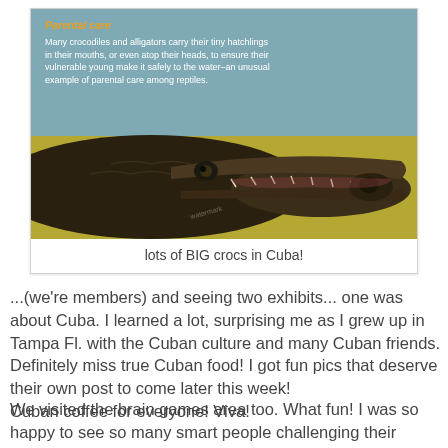[Figure (photo): Photo of an American alligator carrying a hatchling in its mouth, with an educational overlay text about parental care. Background is teal/blue-grey and olive-yellow. Text overlay in upper left reads 'Parental care' in orange, followed by white body text about crocodiles carrying hatchlings.]
lots of BIG crocs in Cuba!
...(we're members) and seeing two exhibits... one was about Cuba. I learned a lot, surprising me as I grew up in Tampa Fl. with the Cuban culture and many Cuban friends. Definitely miss true Cuban food! I got fun pics that deserve their own post to come later this week!
Cuban coffee for everyone! Viva!
We visited the brain games area too. What fun! I was so happy to see so many smart people challenging their